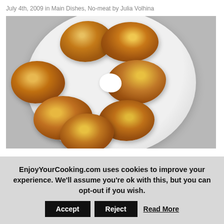July 4th, 2009 in Main Dishes, No-meat by Julia Volhina
[Figure (photo): A plate of golden-brown fried cottage cheese pancakes (syrniki) arranged in a circular pattern with a dollop of sour cream in the center, on a white plate against a light gray background.]
EnjoyYourCooking.com uses cookies to improve your experience. We'll assume you're ok with this, but you can opt-out if you wish. Accept Reject Read More